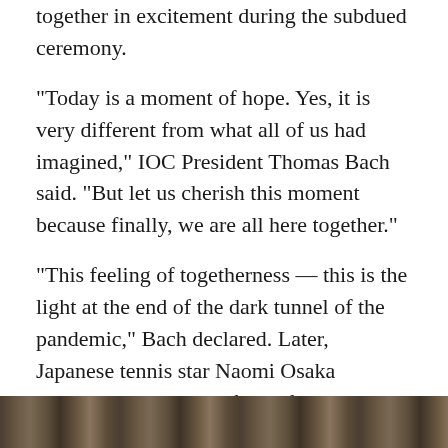together in excitement during the subdued ceremony.
"Today is a moment of hope. Yes, it is very different from what all of us had imagined," IOC President Thomas Bach said. "But let us cherish this moment because finally, we are all here together."
"This feeling of togetherness — this is the light at the end of the dark tunnel of the pandemic," Bach declared. Later, Japanese tennis star Naomi Osaka received the Olympic flame from a torch relay through the stadium and lit the Olympic cauldron.
Meanwhile, others gathered near the stadium in protest of the Games, some holding signs and chanting "no to the Olympics" and "save people's lives."
[Figure (photo): Bottom strip showing a crowd or event photo, partially visible]